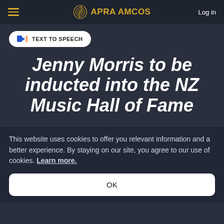APRA AMCOS — Log in
TEXT TO SPEECH
Jenny Morris to be inducted into the NZ Music Hall of Fame
This website uses cookies to offer you relevant information and a better experience. By staying on our site, you agree to our use of cookies. Learn more.
OK